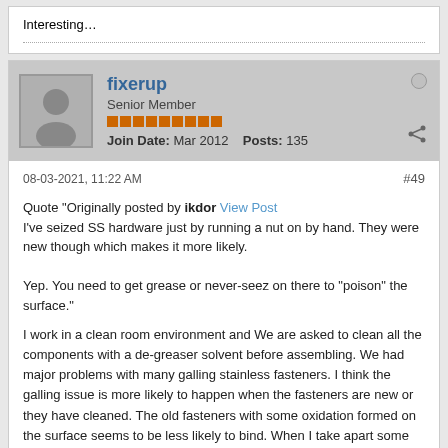Interesting…
fixerup
Senior Member
Join Date: Mar 2012  Posts: 135
08-03-2021, 11:22 AM
#49
Quote "Originally posted by ikdor View Post
I've seized SS hardware just by running a nut on by hand. They were new though which makes it more likely.

Yep. You need to get grease or never-seez on there to "poison" the surface."
I work in a clean room environment and We are asked to clean all the components with a de-greaser solvent before assembling. We had major problems with many galling stainless fasteners. I think the galling issue is more likely to happen when the fasteners are new or they have cleaned. The old fasteners with some oxidation formed on the surface seems to be less likely to bind. When I take apart some stainless